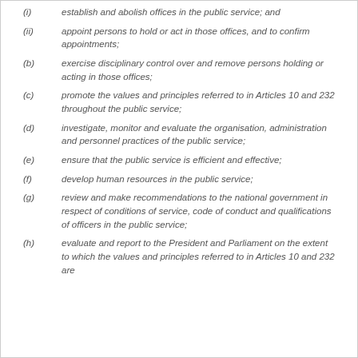(i) establish and abolish offices in the public service; and
(ii) appoint persons to hold or act in those offices, and to confirm appointments;
(b) exercise disciplinary control over and remove persons holding or acting in those offices;
(c) promote the values and principles referred to in Articles 10 and 232 throughout the public service;
(d) investigate, monitor and evaluate the organisation, administration and personnel practices of the public service;
(e) ensure that the public service is efficient and effective;
(f) develop human resources in the public service;
(g) review and make recommendations to the national government in respect of conditions of service, code of conduct and qualifications of officers in the public service;
(h) evaluate and report to the President and Parliament on the extent to which the values and principles referred to in Articles 10 and 232 are